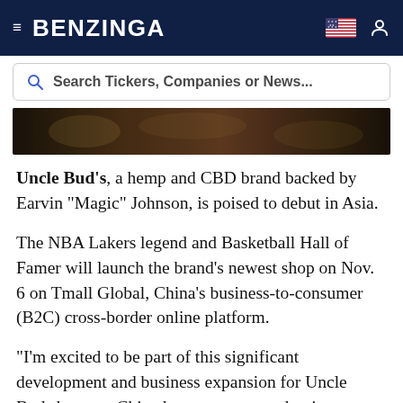BENZINGA
[Figure (screenshot): Search bar with text 'Search Tickers, Companies or News...']
[Figure (photo): Blurry dark background image, partially visible at bottom of header area]
Uncle Bud's, a hemp and CBD brand backed by Earvin "Magic" Johnson, is poised to debut in Asia.
The NBA Lakers legend and Basketball Hall of Famer will launch the brand's newest shop on Nov. 6 on Tmall Global, China's business-to-consumer (B2C) cross-border online platform.
"I'm excited to be part of this significant development and business expansion for Uncle Buds because China has an enormous buying power and a large consumer